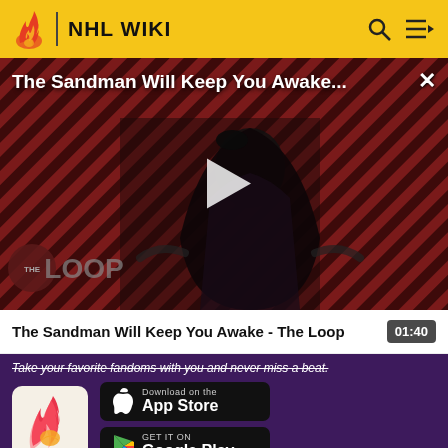NHL WIKI
[Figure (screenshot): Video thumbnail for 'The Sandman Will Keep You Awake - The Loop' showing a dark-cloaked figure against a red diagonal striped background with 'THE LOOP' text and a play button overlay]
The Sandman Will Keep You Awake - The Loop
01:40
Take your favorite fandoms with you and never miss a beat.
[Figure (logo): Fandom app logo - pink/red flame with heart]
[Figure (screenshot): Download on the App Store button]
[Figure (screenshot): Get it on Google Play button]